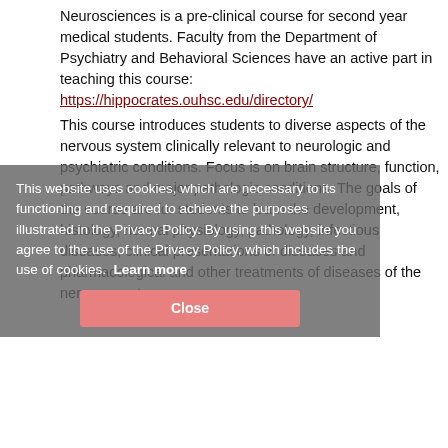Neurosciences is a pre-clinical course for second year medical students. Faculty from the Department of Psychiatry and Behavioral Sciences have an active part in teaching this course: https://hippocrates.ouhsc.edu/directory/ This course introduces students to diverse aspects of the nervous system clinically relevant to neurologic and psychiatric conditions. Focus is on brain structure, function, pathways and major pathologic conditions. The goals of the course are for students to learn the development, histology, normal physiology, pathology, infectious diseases, clinical presentations of diseases and pharmacological and other treatments of diseases of the nervous system.
This website uses cookies, which are necessary to its functioning and required to achieve the purposes illustrated in the Privacy Policy. By using this website you agree to the use of the Privacy Policy, which includes the use of cookies. Learn more
Close